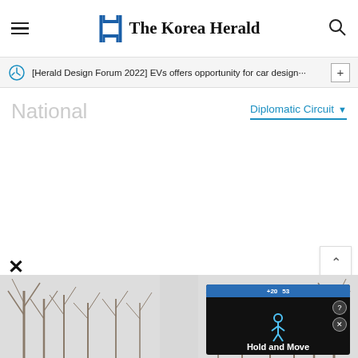The Korea Herald
[Herald Design Forum 2022] EVs offers opportunity for car design···
National
Diplomatic Circuit
[Figure (photo): Winter landscape with bare trees on left and right sides, dark advertisement overlay on bottom right showing 'Hold and Move' with game-style interface elements including score bar and player icon]
Hold and Move